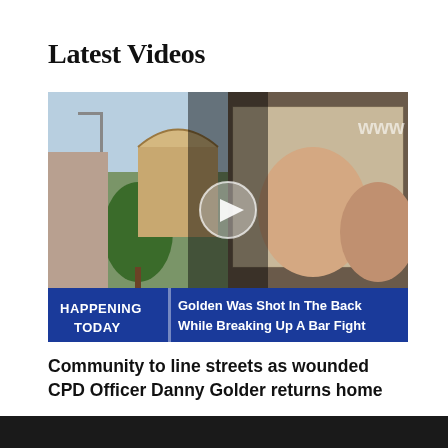Latest Videos
[Figure (screenshot): Video thumbnail showing a street scene on the left and people on the right, with a blue chyron reading 'HAPPENING TODAY | Golden Was Shot In The Back While Breaking Up A Bar Fight' and a play button overlay in the center.]
Community to line streets as wounded CPD Officer Danny Golder returns home